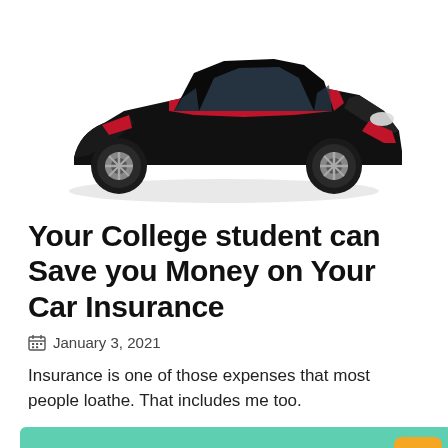[Figure (photo): A black and red Bugatti Veyron sports car photographed from a front-side angle against a white background]
Your College student can Save you Money on Your Car Insurance
January 3, 2021
Insurance is one of those expenses that most people loathe. That includes me too.
I'm an insurance agent, but that doesn't mea... I enjoy paying insurance. I've learned that it is